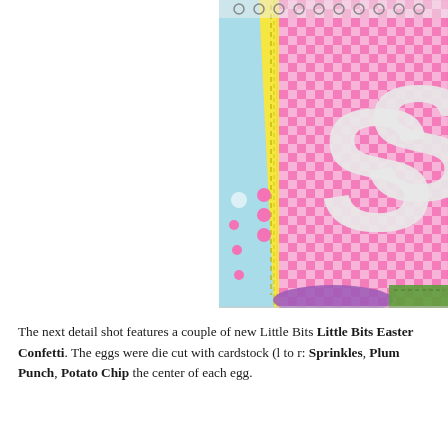[Figure (photo): Close-up detail shot of a scrapbook page featuring pink and white gingham patterned paper, yellow and aqua layered cardstock with stitching details, pink dot embellishments, daisy flowers, purple decorative element at bottom, and a large glittery white letter S in the upper right corner.]
The next detail shot features a couple of new Little Bits Little Bits Easter Confetti. The eggs were die cut with cardstock (l to r: Sprinkles, Plum Punch, Potato Chip the center of each egg.